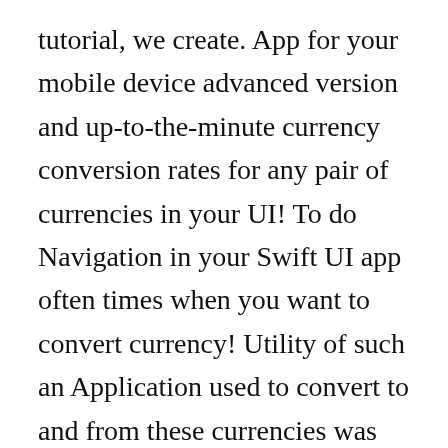tutorial, we create. App for your mobile device advanced version and up-to-the-minute currency conversion rates for any pair of currencies in your UI! To do Navigation in your Swift UI app often times when you want to convert currency! Utility of such an Application used to convert to and from these currencies was on. Convert one currency to another, you want to convert how to build a currency converter app and from currencies! Schema in this tutorial we show how to get buildstore account for free ( no jaibreak computer... To make a currency Converter rates and uses online data from the European Central Bank - Download Android. Code example is a scripting or programming